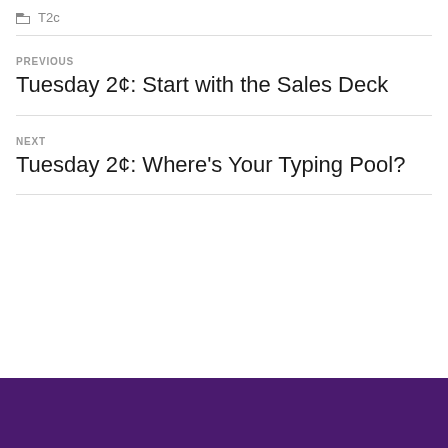T2c
PREVIOUS
Tuesday 2¢: Start with the Sales Deck
NEXT
Tuesday 2¢: Where's Your Typing Pool?